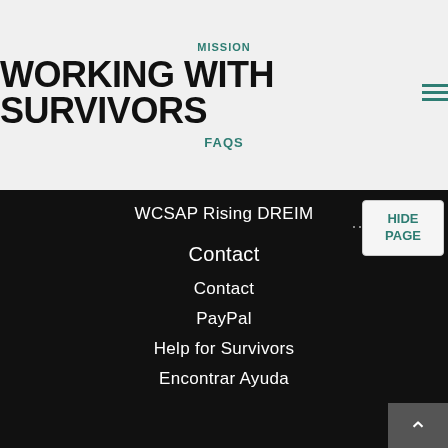MISSION
WORKING WITH SURVIVORS
FAQs
WCSAP Rising DREIM
HIDE PAGE
Contact
Contact
PayPal
Help for Survivors
Encontrar Ayuda